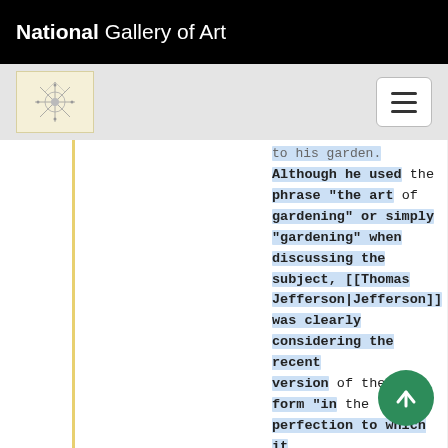National Gallery of Art
[Figure (logo): Navigation bar with NGA starburst logo icon and hamburger menu button]
to his garden. Although he used the phrase “the art of gardening” or simply “gardening” when discussing the subject, [[Thomas Jefferson|Jefferson]] was clearly considering the recent version of the art form “in the perfection to which it [had] been lately brought in England [[Thomas Jefferson|Jefferson]] also referred to